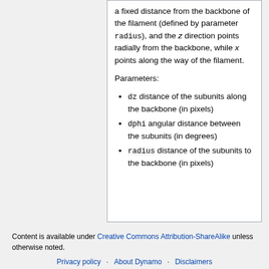a fixed distance from the backbone of the filament (defined by parameter radius), and the z direction points radially from the backbone, while x points along the way of the filament.
Parameters:
dz distance of the subunits along the backbone (in pixels)
dphi angular distance between the subunits (in degrees)
radius distance of the subunits to the backbone (in pixels)
Content is available under Creative Commons Attribution-ShareAlike unless otherwise noted. Privacy policy · About Dynamo · Disclaimers